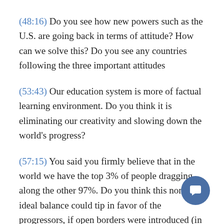(48:16) Do you see how new powers such as the U.S. are going back in terms of attitude? How can we solve this? Do you see any countries following the three important attitudes
(53:43) Our education system is more of factual learning environment. Do you think it is eliminating our creativity and slowing down the world's progress?
(57:15) You said you firmly believe that in the world we have the top 3% of people dragging along the other 97%. Do you think this non-ideal balance could tip in favor of the progressors, if open borders were introduced (in terms of immigration), providing opportunity to disadvantaged immigrants to perhaps